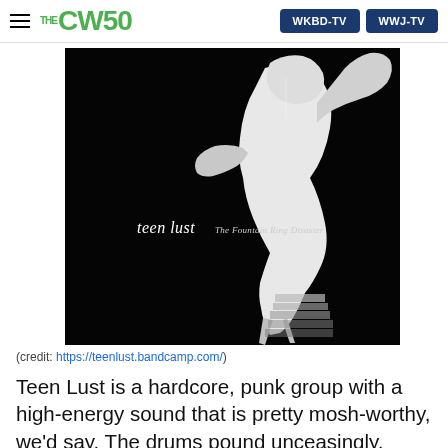THE CW50 | WKBD-TV | WWJ-TV
[Figure (photo): Album cover for teen lust 'The Fountain Ring Disaster' - black and white image of a figure/statue against black background with album title text in lower left]
(credit: https://teenlust.bandcamp.com/)
Teen Lust is a hardcore, punk group with a high-energy sound that is pretty mosh-worthy, we'd say. The drums pound unceasingly, while heavy guitar licks fill the tracks.